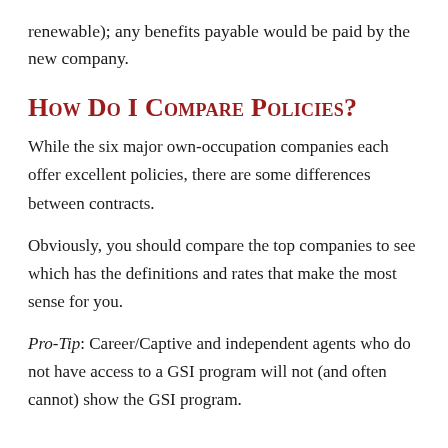renewable); any benefits payable would be paid by the new company.
How Do I Compare Policies?
While the six major own-occupation companies each offer excellent policies, there are some differences between contracts.
Obviously, you should compare the top companies to see which has the definitions and rates that make the most sense for you.
Pro-Tip: Career/Captive and independent agents who do not have access to a GSI program will not (and often cannot) show the GSI program.